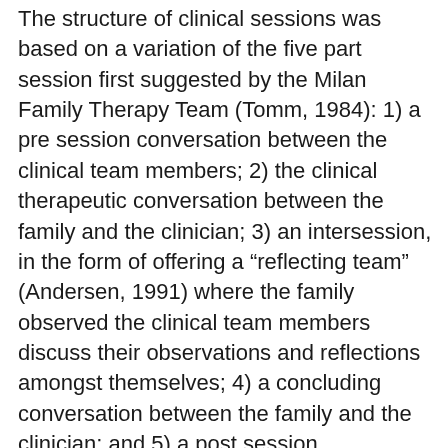The structure of clinical sessions was based on a variation of the five part session first suggested by the Milan Family Therapy Team (Tomm, 1984): 1) a pre session conversation between the clinical team members; 2) the clinical therapeutic conversation between the family and the clinician; 3) an intersession, in the form of offering a “reflecting team” (Andersen, 1991) where the family observed the clinical team members discuss their observations and reflections amongst themselves; 4) a concluding conversation between the family and the clinician; and 5) a post session conversation between the clinical members. The nurse clinicians for the family were faculty members, doctoral nursing students, or second year masters nursing students, and all family sessions received live supervision by a faculty member. All clinical sessions, as well as the clinical team’s pre and post sessions, were videotaped and archived after consent was obtained from family members and